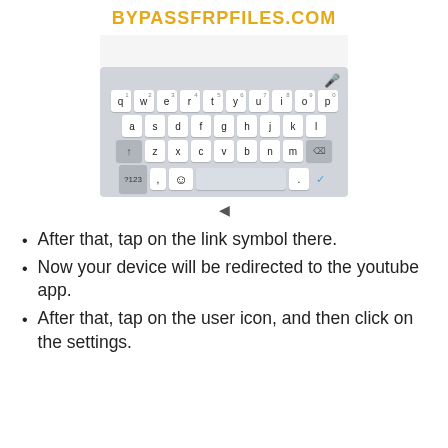BYPASSFRPFILES.COM
[Figure (screenshot): Android keyboard screenshot showing QWERTY layout with mic icon, shift key, backspace, ?123, emoji, space bar, period and checkmark keys]
After that, tap on the link symbol there.
Now your device will be redirected to the youtube app.
After that, tap on the user icon, and then click on the settings.